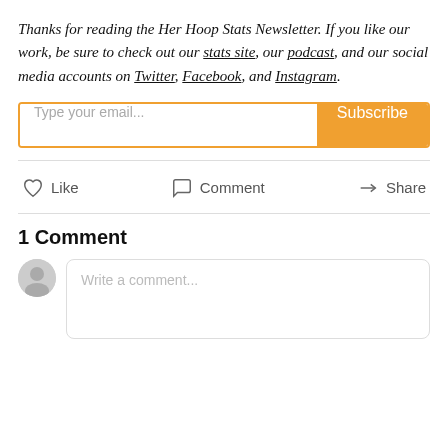Thanks for reading the Her Hoop Stats Newsletter. If you like our work, be sure to check out our stats site, our podcast, and our social media accounts on Twitter, Facebook, and Instagram.
[Figure (other): Email subscription widget with text input 'Type your email...' and orange Subscribe button]
[Figure (other): Social action bar with Like, Comment, and Share buttons separated by a horizontal rule]
1 Comment
[Figure (other): Comment input area with gray avatar icon and 'Write a comment...' placeholder text box]